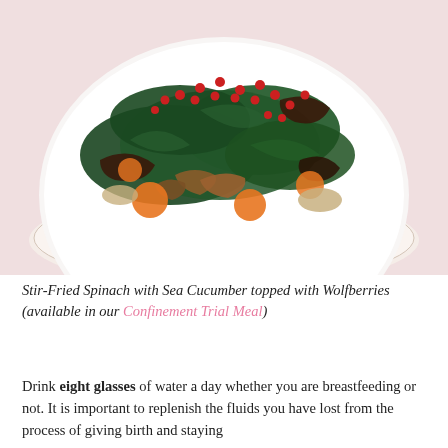[Figure (photo): A white bowl of Stir-Fried Spinach with Sea Cucumber topped with Wolfberries, placed on a floral patterned plate on a light pink background. The dish contains dark green spinach, orange carrots, brown sea cucumbers, mushrooms, and red wolfberries.]
Stir-Fried Spinach with Sea Cucumber topped with Wolfberries (available in our Confinement Trial Meal)
Drink eight glasses of water a day whether you are breastfeeding or not. It is important to replenish the fluids you have lost from the process of giving birth and staying